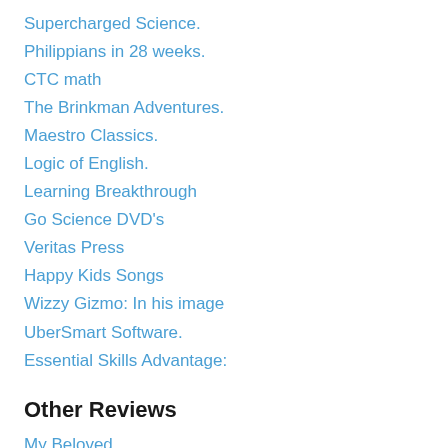Supercharged Science.
Philippians in 28 weeks.
CTC math
The Brinkman Adventures.
Maestro Classics.
Logic of English.
Learning Breakthrough
Go Science DVD's
Veritas Press
Happy Kids Songs
Wizzy Gizmo: In his image
UberSmart Software.
Essential Skills Advantage:
Other Reviews
My Beloved ..
Homemaker's Mentor
Don't Miss the Boat
Tokens of Promise
Biff and Becka's